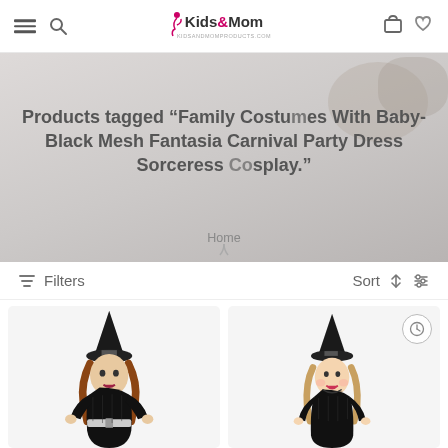Kids&Mom — navigation header with hamburger menu, search, logo, cart, and heart icons
Products tagged “Family Costumes With Baby- Black Mesh Fantasia Carnival Party Dress Sorceress Cosplay.”
Home
Filters
Sort
[Figure (photo): Two women wearing black witch costumes with pointed hats — an adult woman on the left and a young girl on the right, both in black mesh witch dresses for Halloween.]